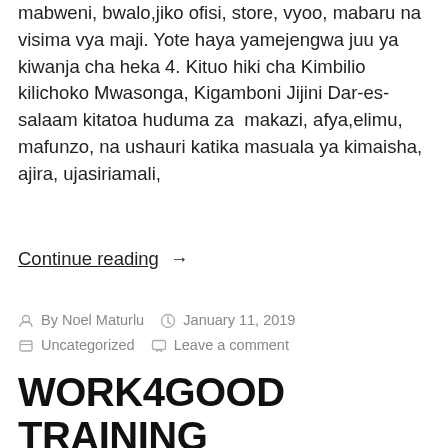mabweni, bwalo, jiko ofisi, store, vyoo, mabaru na visima vya maji. Yote haya yamejengwa juu ya kiwanja cha heka 4. Kituo hiki cha Kimbilio kilichoko Mwasonga, Kigamboni Jijini Dar-es-salaam kitatoa huduma za makazi, afya,elimu, mafunzo, na ushauri katika masuala ya kimaisha, ajira, ujasiriamali,
Continue reading →
By Noel Maturlu  January 11, 2019  Uncategorized  Leave a comment
WORK4GOOD TRAINING